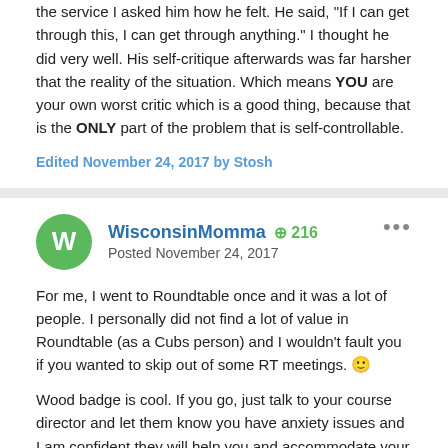the service I asked him how he felt.  He said, "If I can get through this, I can get through anything."  I thought he did very well.  His self-critique afterwards was far harsher that the reality of the situation.  Which means YOU are your own worst critic which is a good thing, because that is the ONLY part of the problem that is self-controllable.
Edited November 24, 2017 by Stosh
WisconsinMomma  + 216
Posted November 24, 2017
For me, I went to Roundtable once and it was a lot of people.  I personally did not find a lot of value in Roundtable (as a Cubs person) and I wouldn't fault you if you wanted to skip out of some RT meetings. :)
Wood badge is cool.  If you go, just talk to your course director and let them know you have anxiety issues and I am confident they will help you and accommodate your needs so you can